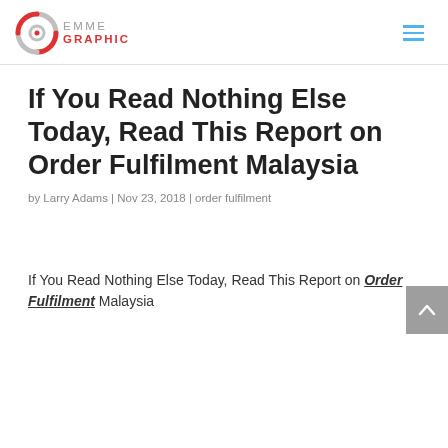EMME GRAPHIC [logo] [hamburger menu]
If You Read Nothing Else Today, Read This Report on Order Fulfilment Malaysia
by Larry Adams | Nov 23, 2018 | order fulfilment
If You Read Nothing Else Today, Read This Report on Order Fulfilment Malaysia